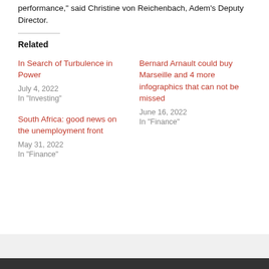performance," said Christine von Reichenbach, Adem's Deputy Director.
Related
In Search of Turbulence in Power
July 4, 2022
In "Investing"
Bernard Arnault could buy Marseille and 4 more infographics that can not be missed
June 16, 2022
In "Finance"
South Africa: good news on the unemployment front
May 31, 2022
In "Finance"